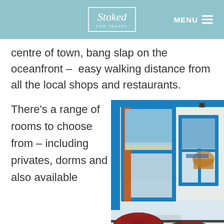Stoked for Travel — MENU
centre of town, bang slap on the oceanfront – easy walking distance from all the local shops and restaurants.
There's a range of rooms to choose from – including privates, dorms and also available
[Figure (photo): Interior photo showing a bright blue-framed window opened inward, reflecting a view of an outdoor terrace and ocean. In the foreground is a striped bench/daybed with red embroidered cushions in a Mediterranean/Moroccan style.]